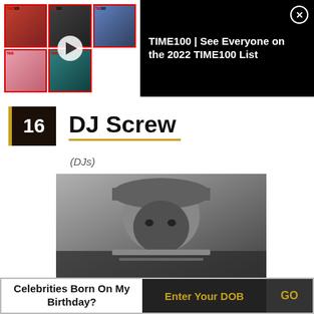[Figure (screenshot): TIME100 promotional banner with thumbnail grid of magazine covers and play button overlay, with text 'TIME100 | See Everyone on the 2022 TIME100 List' on black background]
16   DJ Screw
(DJs)
[Figure (photo): Black and white photo of DJ Screw wearing a baseball cap, close-up shot]
Celebrities Born On My Birthday?  Enter Your DOB  GO